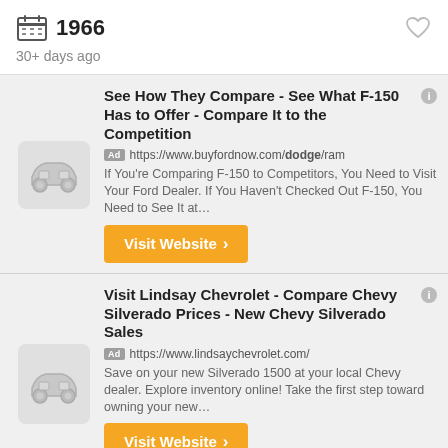1966
30+ days ago
[Figure (other): Ad listing: See How They Compare - See What F-150 Has to Offer - Compare It to the Competition. Ad https://www.buyfordnow.com/dodge/ram. If You're Comparing F-150 to Competitors, You Need to Visit Your Ford Dealer. If You Haven't Checked Out F-150, You Need to See It at... Visit Website button.]
[Figure (other): Ad listing: Visit Lindsay Chevrolet - Compare Chevy Silverado Prices - New Chevy Silverado Sales. Ad https://www.lindsaychevrolet.com/. Save on your new Silverado 1500 at your local Chevy dealer. Explore inventory online! Take the first step toward owning your new... Visit Website button. 15605 Jefferson Davis Hwy, Woodbridge]